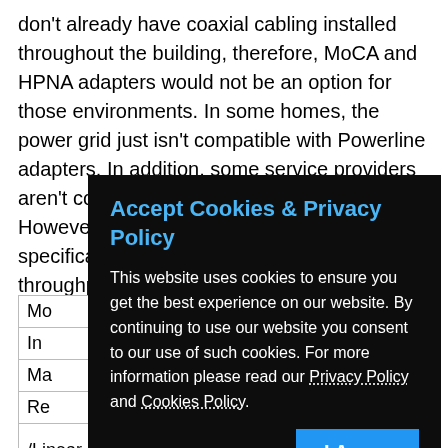don't already have coaxial cabling installed throughout the building, therefore, MoCA and HPNA adapters would not be an option for those environments. In some homes, the power grid just isn't compatible with Powerline adapters. In addition, some service providers aren't compatible with MoCA or HPNA. However, when looking at just the technical specifications, MoCA adapters offer the best throughput performance among the other networking technologies discussed for...
| Mo... |  | t |
| In... |  |  |
| Ma... |  |  |
| Re... |  |  |
| /Linear |  | 5000 ft. |
[Figure (screenshot): Cookie consent modal dialog with dark background. Title: 'Accept Cookies & Privacy Policy' in blue. Body text explaining cookie usage with links to Privacy Policy and Cookies Policy. An 'I Agree' blue button at the bottom right.]